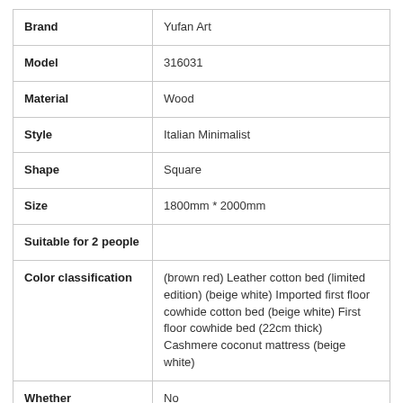| Attribute | Value |
| --- | --- |
| Brand | Yufan Art |
| Model | 316031 |
| Material | Wood |
| Style | Italian Minimalist |
| Shape | Square |
| Size | 1800mm * 2000mm |
| Suitable for 2 people |  |
| Color classification | (brown red) Leather cotton bed (limited edition) (beige white) Imported first floor cowhide cotton bed (beige white) First floor cowhide bed (22cm thick) Cashmere coconut mattress (beige white) |
| Whether customizable | No |